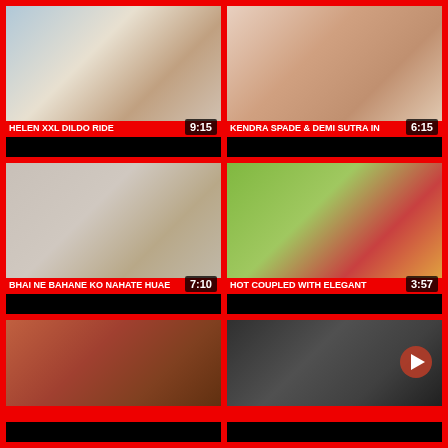[Figure (screenshot): Video thumbnail grid showing 6 video cards with titles and durations]
HELEN XXL DILDO RIDE
KENDRA SPADE & DEMI SUTRA IN
BHAI NE BAHANE KO NAHATE HUAE
HOT COUPLED WITH ELEGANT